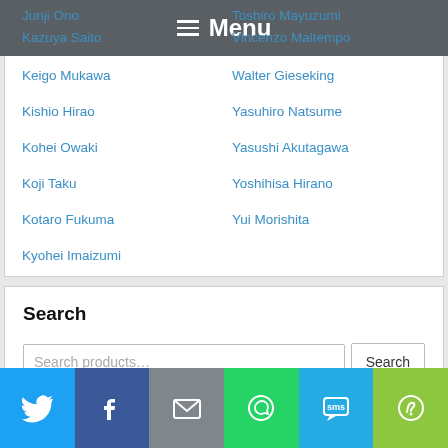Menu
Junji Ono
Toshiro Mayuzumi
Kazuya Saito
Vincenzo Maltempo
Keigo Mukawa
Walter Gieseking
Kishio Hirao
Yasuhiro Natsume
Kohei Owaki
Yasushi Akutagawa
Koji Taku
Yoshihisa Hirano
Kotaro Fukuma
Yui Morishita
Kyohei Imaizumi
Search
Search products...
[Figure (infographic): Social sharing bar with icons for Twitter, Facebook, Email, WhatsApp, SMS, and More]